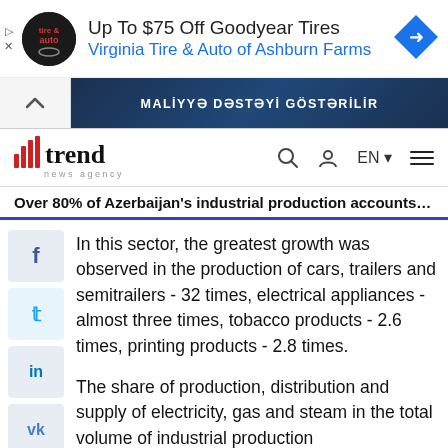[Figure (other): Advertisement banner: tire and auto logo circle, text 'Up To $75 Off Goodyear Tires' and 'Virginia Tire & Auto of Ashburn Farms', blue arrow diamond icon on right]
[Figure (other): Azerbaijani banner image showing keyboard, text 'MALİYYƏ DƏSTƏYİ GÖSTƏRİLİR' on dark blue background]
[Figure (logo): Trend News Agency logo with red bar chart icon and 'trend news agency' text, navigation icons including search, user, EN language selector, and hamburger menu]
Over 80% of Azerbaijan's industrial production accounts for p...
In this sector, the greatest growth was observed in the production of cars, trailers and semitrailers - 32 times, electrical appliances - almost three times, tobacco products - 2.6 times, printing products - 2.8 times.
The share of production, distribution and supply of electricity, gas and steam in the total volume of industrial production accounted for 4 percent, while the share of